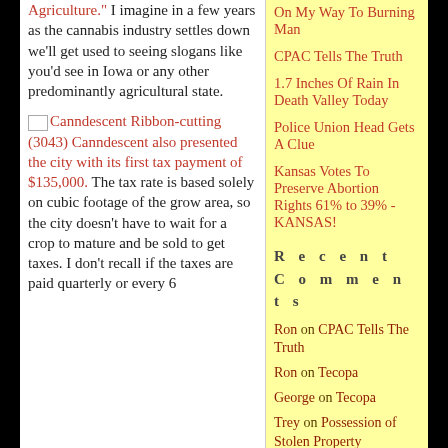Agriculture." I imagine in a few years as the cannabis industry settles down we'll get used to seeing slogans like you'd see in Iowa or any other predominantly agricultural state.
Canndescent Ribbon-cutting (3043) Canndescent also presented the city with its first tax payment of $135,000. The tax rate is based solely on cubic footage of the grow area, so the city doesn't have to wait for a crop to mature and be sold to get taxes. I don't recall if the taxes are paid quarterly or every 6
On My Way To Burning Man
CPAC Tells The Truth
1.7 Inches Of Rain In Death Valley Today
Police Union Head Gets A Clue
Kansas Votes To Preserve Abortion Rights 61% to 39% - KANSAS!
Recent Comments
Ron on CPAC Tells The Truth
Ron on Tecopa
George on Tecopa
Trey on Possession of Stolen Property
Ron on MSWD Directors Grasha and Duncan